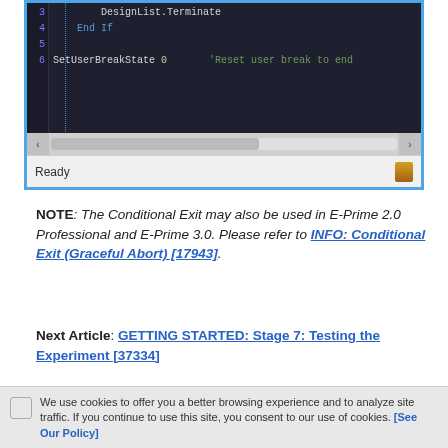[Figure (screenshot): Code editor screenshot showing VB/E-Prime code with line numbers 3-6. Line 3: DesignList.Terminate, Line 4: End If (blue), Lines 5 blank, Line 6: SetUserBreakState 0   'Reset user break to end (green comment). Has horizontal scrollbar and Ready status bar.]
NOTE: The Conditional Exit may also be used in E-Prime 2.0 Professional and E-Prime 3.0. Please refer to INFO: Conditional Exit (Graceful Abort) [17943].
Next Article: GETTING STARTED: Stage 7: Testing the Experiment [37334]
We use cookies to offer you a better browsing experience and to analyze site traffic. If you continue to use this site, you consent to our use of cookies. [See Our Policy]